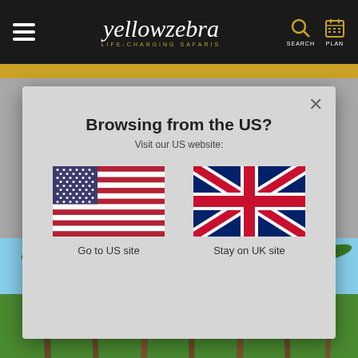yellowzebra LIFE-CHANGING SAFARIS | SEARCH | PLAN
[Figure (screenshot): Modal dialog on yellowzebra.com website asking 'Browsing from the US? Visit our US website:' with US flag (Go to US site) and UK flag (Stay on UK site) options, and a close X button. Background shows a gold navigation bar and palm tree photo.]